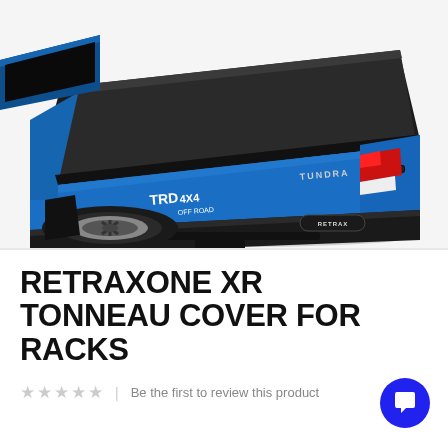[Figure (photo): Blue Toyota Tundra TRD 4x4 Off-Road pickup truck with a black RetraxONE XR retractable tonneau cover installed on the truck bed, shown from a rear three-quarter angle on a white background. The RETRAX logo is visible on the bumper.]
RETRAXONE XR TONNEAU COVER FOR RACKS
★★★★★ | Be the first to review this product